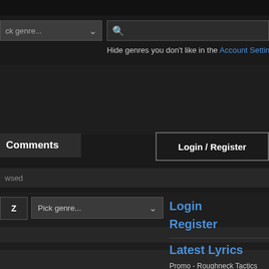[Figure (screenshot): Dark-themed music lyrics website UI showing genre dropdown, search bar, hide genres text with Account Settings link, Comments section header, Login/Register button, browsed bar, alpha Z filter, Pick genre dropdown, Login and Register links, Latest Lyrics section with song entries.]
ck genre...
Hide genres you don't like in the Account Settings
Comments
Login / Register
wsed
Z
Pick genre...
Login
Register
Latest Lyrics
Promo - Roughneck Tactics
Drokz - I Better Be Real Nice For You
The Wishmaster - The Summer Of Sam
Udex - Keep You Safe